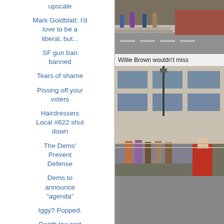upscale
Mark Goldblatt: I'd love to be a liberal, but...
SF gun ban banned
Tears of shame
Pissing off your voters
Hairdressers Local #622 shut down
The Dems' Prevent Defense
Dems to announce "agenda"
Iggy? Popped.
Death tax part deux
[Figure (photo): Street scene with people on sidewalk and a red car, urban setting]
Willie Brown wouldn't miss
[Figure (photo): Outdoor scene showing people near a building with large windows, some wearing cowboy hats, one person in red shirt in foreground]